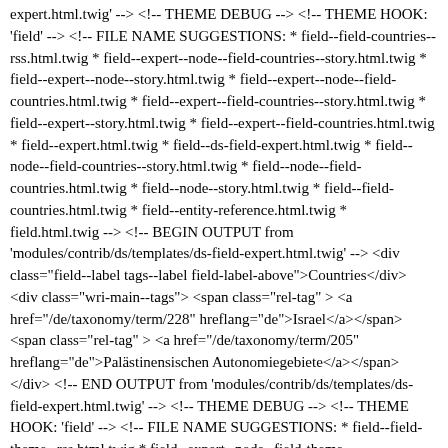expert.html.twig' --> <!-- THEME DEBUG --> <!-- THEME HOOK: 'field' --> <!-- FILE NAME SUGGESTIONS: * field--field-countries--rss.html.twig * field--expert--node--field-countries--story.html.twig * field--expert--node--story.html.twig * field--expert--node--field-countries.html.twig * field--expert--field-countries--story.html.twig * field--expert--story.html.twig * field--expert--field-countries.html.twig * field--expert.html.twig * field--ds-field-expert.html.twig * field--node--field-countries--story.html.twig * field--node--field-countries.html.twig * field--node--story.html.twig * field--field-countries.html.twig * field--entity-reference.html.twig * field.html.twig --> <!-- BEGIN OUTPUT from 'modules/contrib/ds/templates/ds-field-expert.html.twig' --> <div class="field--label tags--label field-label-above">Countries</div> <div class="wri-main--tags"> <span class="rel-tag" > <a href="/de/taxonomy/term/228" hreflang="de">Israel</a></span> <span class="rel-tag" > <a href="/de/taxonomy/term/205" hreflang="de">Palästinensischen Autonomiegebiete</a></span> </div> <!-- END OUTPUT from 'modules/contrib/ds/templates/ds-field-expert.html.twig' --> <!-- THEME DEBUG --> <!-- THEME HOOK: 'field' --> <!-- FILE NAME SUGGESTIONS: * field--field-theme--rss.html.twig * field--expert--node--field-theme--story.html.twig * field--expert--node--story.html.twig * field--expert--node--field-theme.html.twig * field--expert--field-theme--story.html.twig * field--expert--story.html.twig * field--expert--field-theme.html.twig * field--